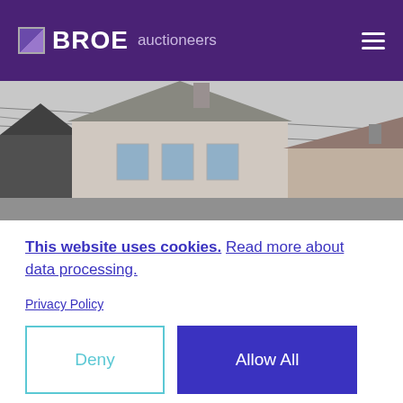BROE auctioneers
[Figure (photo): Exterior photograph of a residential house with grey sky background, showing rooftop and chimney]
This website uses cookies. Read more about data processing.
Privacy Policy
Deny
Allow All